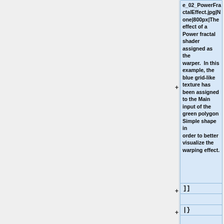e_02_PowerFractalEffect.jpg|None|800px|The effect of a Power fractal shader assigned as the warper.  In this example, the blue grid-like texture has been assigned to the Main input of the green polygon Simple shape in order to better visualize the warping effect.
]]
|}